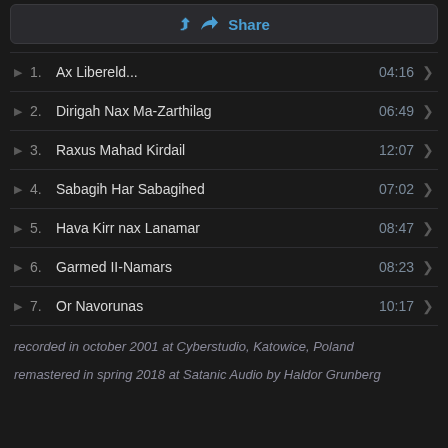Share
1. Ax Libereld... 04:16
2. Dirigah Nax Ma-Zarthilag 06:49
3. Raxus Mahad Kirdail 12:07
4. Sabagih Har Sabagihed 07:02
5. Hava Kirr nax Lanamar 08:47
6. Garmed II-Namars 08:23
7. Or Navorunas 10:17
recorded in october 2001 at Cyberstudio, Katowice, Poland
remastered in spring 2018 at Satanic Audio by Haldor Grunberg